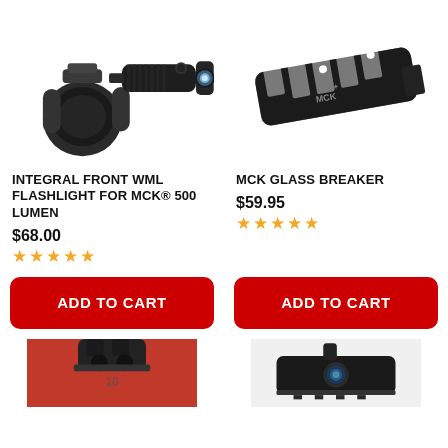[Figure (photo): Integral Front WML Flashlight mounted on a gun rail bracket, black tactical flashlight with lens visible]
[Figure (photo): MCK Glass Breaker, a black cylindrical metal muzzle device with slots and MCK logo]
INTEGRAL FRONT WML FLASHLIGHT FOR MCK® 500 LUMEN
MCK GLASS BREAKER
$68.00
★★★★★
$59.95
★★★★★
ADD TO CART
ADD TO CART
[Figure (photo): Partial bottom image of a tactical accessory on a red background]
[Figure (photo): Partial bottom image of a black tactical sight/optic device]